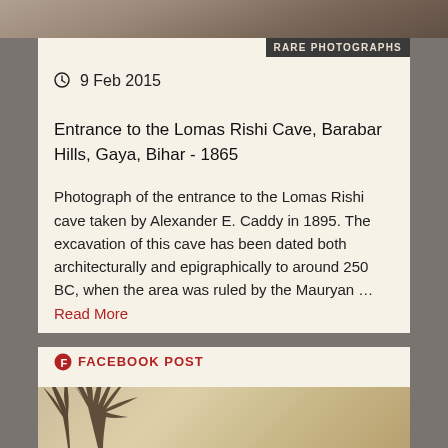[Figure (photo): Sepia-toned historical photograph cropped at top, showing rocky or earthen landscape]
RARE PHOTOGRAPHS
9 Feb 2015
Entrance to the Lomas Rishi Cave, Barabar Hills, Gaya, Bihar - 1865
Photograph of the entrance to the Lomas Rishi cave taken by Alexander E. Caddy in 1895. The excavation of this cave has been dated both architecturally and epigraphically to around 250 BC, when the area was ruled by the Mauryan … Read More
FACEBOOK POST
[Figure (photo): Sepia-toned historical photograph showing a large thorny tree or bush in the foreground against a pale background]